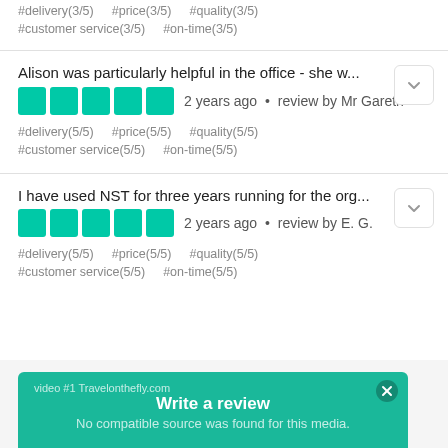#delivery(3/5)  #price(3/5)  #quality(3/5)
#customer service(3/5)  #on-time(3/5)
Alison was particularly helpful in the office - she w...
2 years ago • review by Mr Gareth
#delivery(5/5)  #price(5/5)  #quality(5/5)
#customer service(5/5)  #on-time(5/5)
I have used NST for three years running for the org...
2 years ago • review by E. G.
#delivery(5/5)  #price(5/5)  #quality(5/5)
#customer service(5/5)  #on-time(5/5)
video #1 Travelonthefly.com
Write a review
No compatible source was found for this media.